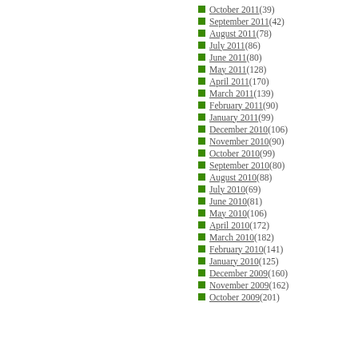October 2011 (39)
September 2011 (42)
August 2011 (78)
July 2011 (86)
June 2011 (80)
May 2011 (128)
April 2011 (170)
March 2011 (139)
February 2011 (90)
January 2011 (99)
December 2010 (106)
November 2010 (90)
October 2010 (99)
September 2010 (80)
August 2010 (88)
July 2010 (69)
June 2010 (81)
May 2010 (106)
April 2010 (172)
March 2010 (182)
February 2010 (141)
January 2010 (125)
December 2009 (160)
November 2009 (162)
October 2009 (201)